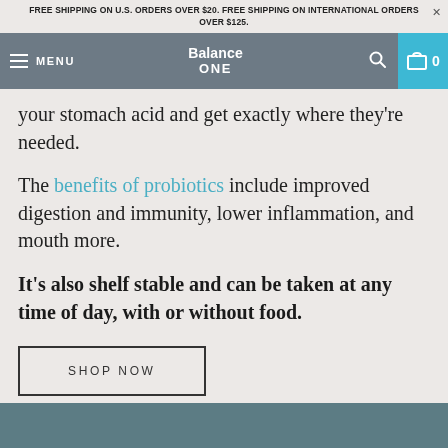FREE SHIPPING ON U.S. ORDERS OVER $20. FREE SHIPPING ON INTERNATIONAL ORDERS OVER $125.
Balance ONE — MENU — Cart 0
your stomach acid and get exactly where they're needed.
The benefits of probiotics include improved digestion and immunity, lower inflammation, and mouth more.
It's also shelf stable and can be taken at any time of day, with or without food.
SHOP NOW